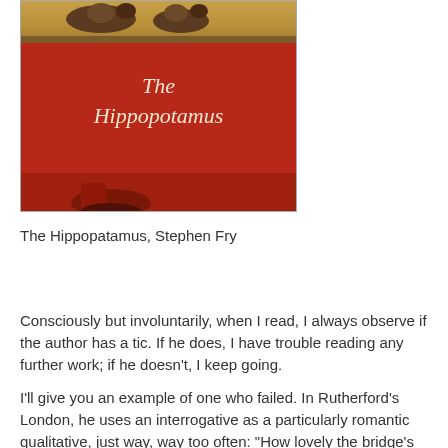[Figure (illustration): Book cover of 'The Hippopotamus' by Stephen Fry. Red bathtub with the title text 'The Hippopotamus' in white italic serif font. At the top, a wooden rim of the tub with what appears to be animals or figures resting on it.]
The Hippopatamus, Stephen Fry
Consciously but involuntarily, when I read, I always observe if the author has a tic. If he does, I have trouble reading any further work; if he doesn't, I keep going.
I'll give you an example of one who failed. In Rutherford's London, he uses an interrogative as a particularly romantic qualitative, just way, way too often: "How lovely the bridge's